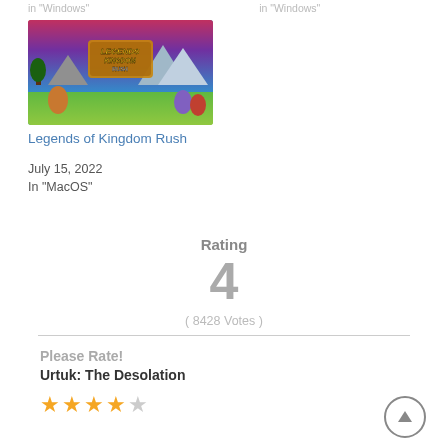in "Windows"    in "Windows"
[Figure (illustration): Game thumbnail illustration for Legends of Kingdom Rush with colorful fantasy art showing characters and the game logo]
Legends of Kingdom Rush
July 15, 2022
In "MacOS"
Rating
4
( 8428 Votes )
Please Rate!
Urtuk: The Desolation